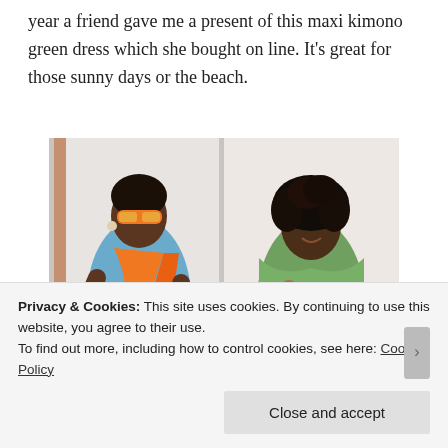year a friend gave me a present of this maxi kimono green dress which she bought on line. It's great for those sunny days or the beach.
[Figure (photo): Two women posing for fashion photos. Left: a woman wearing orange sunglasses, an orange scarf, a light blue short-sleeve top, and pink/salmon pants. Right: a woman wearing a colorful green, orange, and brown patterned maxi dress, with curly hair.]
Privacy & Cookies: This site uses cookies. By continuing to use this website, you agree to their use.
To find out more, including how to control cookies, see here: Cookie Policy
Close and accept